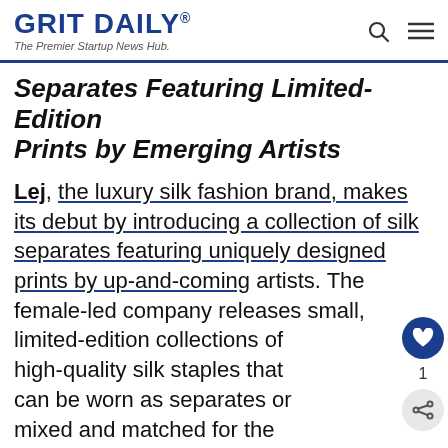GRIT DAILY® The Premier Startup News Hub.
Separates Featuring Limited-Edition Prints by Emerging Artists
Lej, the luxury silk fashion brand, makes its debut by introducing a collection of silk separates featuring uniquely designed prints by up-and-coming artists. The female-led company releases small, limited-edition collections of high-quality silk staples that can be worn as separates or mixed and matched for the ultimate power suit. Each piece in the collection has the versatility to take you from the office to